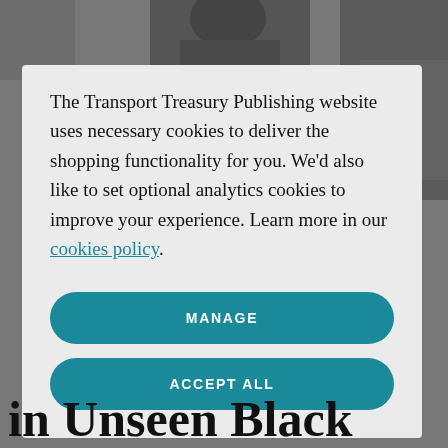[Figure (photo): Black and white photograph of a person in work gear, partially visible at top of page behind a cookie consent modal overlay]
The Transport Treasury Publishing website uses necessary cookies to deliver the shopping functionality for you. We'd also like to set optional analytics cookies to improve your experience. Learn more in our cookies policy.
MANAGE
ACCEPT ALL
in Unseen Black